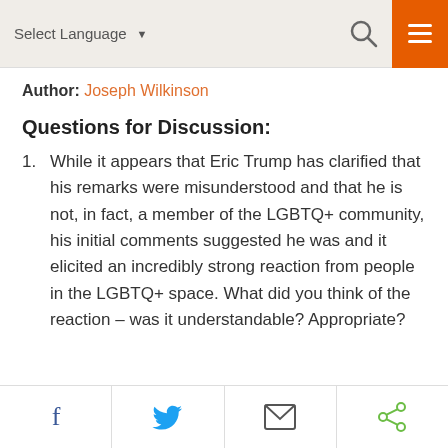Select Language
Author: Joseph Wilkinson
Questions for Discussion:
While it appears that Eric Trump has clarified that his remarks were misunderstood and that he is not, in fact, a member of the LGBTQ+ community, his initial comments suggested he was and it elicited an incredibly strong reaction from people in the LGBTQ+ space. What did you think of the reaction – was it understandable? Appropriate?